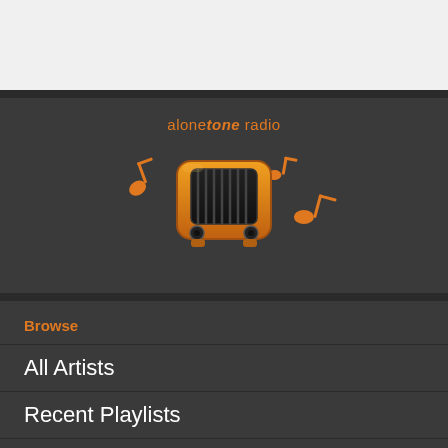[Figure (logo): Alonetone radio app logo: orange retro radio icon with musical notes, on dark background, with text 'alonetone radio']
Browse
All Artists
Recent Playlists
Recent Tracks
Popular Tracks